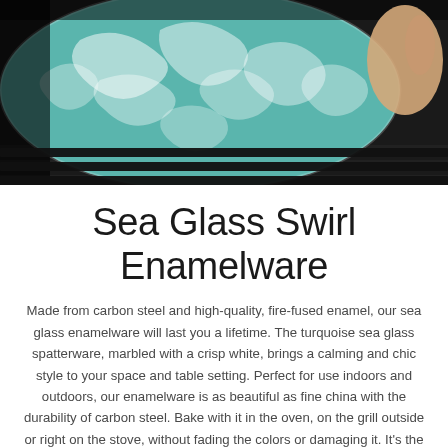[Figure (photo): Close-up photo of a turquoise and white marbled enamelware dish (sea glass swirl spatterware) being held by a hand, placed on a dark grill grate. The enamelware shows a distinctive teal/turquoise base with white marbling patterns.]
Sea Glass Swirl Enamelware
Made from carbon steel and high-quality, fire-fused enamel, our sea glass enamelware will last you a lifetime. The turquoise sea glass spatterware, marbled with a crisp white, brings a calming and chic style to your space and table setting. Perfect for use indoors and outdoors, our enamelware is as beautiful as fine china with the durability of carbon steel. Bake with it in the oven, on the grill outside or right on the stove, without fading the colors or damaging it. It's the ideal cookware and serveware to expand your casual, yet sophisticated style. Mix and match with other colors and designs to design a unique style for your table!